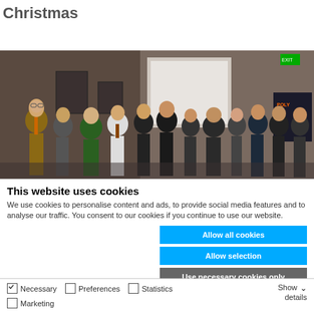Christmas
[Figure (photo): Group photo of approximately 14 people posing together in what appears to be a conference or event venue, with brown walls and a projection screen visible in the background.]
This website uses cookies
We use cookies to personalise content and ads, to provide social media features and to analyse our traffic. You consent to our cookies if you continue to use our website.
Allow all cookies
Allow selection
Use necessary cookies only
Necessary   Preferences   Statistics   Marketing   Show details